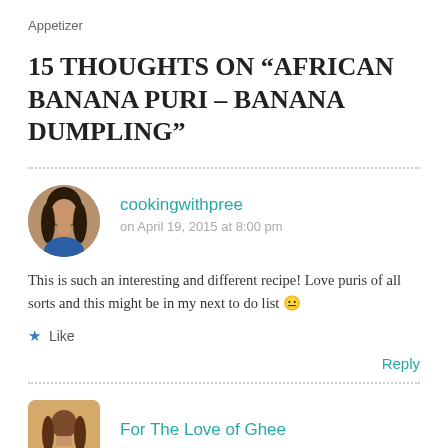Appetizer
15 THOUGHTS ON “AFRICAN BANANA PURI – BANANA DUMPLING”
cookingwithpree
on April 19, 2015 at 8:00 pm
This is such an interesting and different recipe! Love puris of all sorts and this might be in my next to do list 😐
★ Like
Reply
For The Love of Ghee